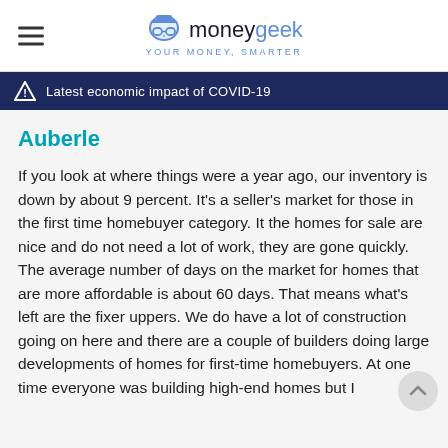moneygeek — YOUR MONEY, SMARTER
Latest economic impact of COVID-19
Auberle
If you look at where things were a year ago, our inventory is down by about 9 percent. It's a seller's market for those in the first time homebuyer category. It the homes for sale are nice and do not need a lot of work, they are gone quickly. The average number of days on the market for homes that are more affordable is about 60 days. That means what's left are the fixer uppers. We do have a lot of construction going on here and there are a couple of builders doing large developments of homes for first-time homebuyers. At one time everyone was building high-end homes but I